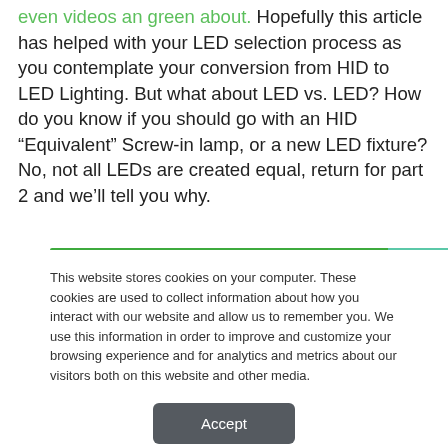even videos an green about. Hopefully this article has helped with your LED selection process as you contemplate your conversion from HID to LED Lighting. But what about LED vs. LED? How do you know if you should go with an HID “Equivalent” Screw-in lamp, or a new LED fixture? No, not all LEDs are created equal, return for part 2 and we’ll tell you why.
This website stores cookies on your computer. These cookies are used to collect information about how you interact with our website and allow us to remember you. We use this information in order to improve and customize your browsing experience and for analytics and metrics about our visitors both on this website and other media.
Accept